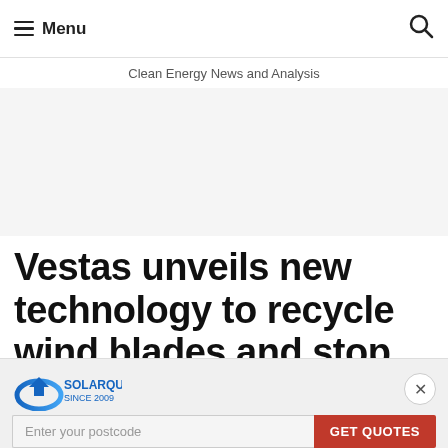Menu | Clean Energy News and Analysis
Vestas unveils new technology to recycle wind blades and stop
[Figure (logo): SolarQuotes logo with rainbow arc and house icon, text: SOLARQUOTES SINCE 2009]
Enter your postcode | GET QUOTES